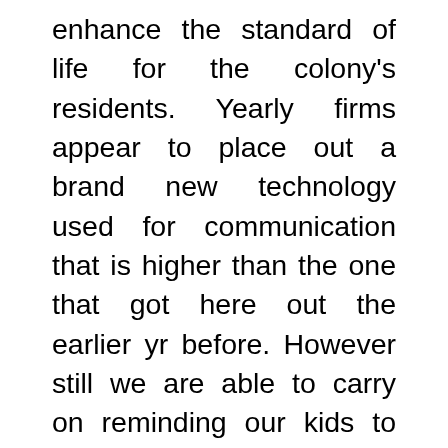enhance the standard of life for the colony's residents. Yearly firms appear to place out a brand new technology used for communication that is higher than the one that got here out the earlier yr before. However still we are able to carry on reminding our kids to watch out and avoid the problems-over dependence on technology may trigger. Whilst begin-ups and enterprise capitalists continue to invest in faculties, there's ample resistance amongst lecturers- and even college students- about